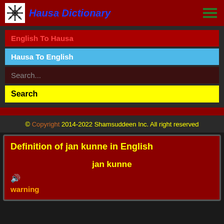Hausa Dictionary
English To Hausa
Hausa To English
Search...
Search
© Copyright 2014-2022 Shamsuddeen Inc. All right reserved
Definition of jan kunne in English
jan kunne
warning